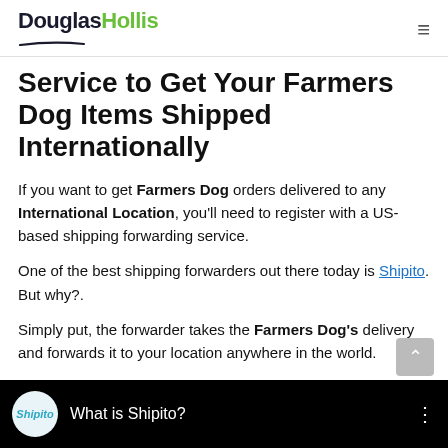DouglasHollis
Service to Get Your Farmers Dog Items Shipped Internationally
If you want to get Farmers Dog orders delivered to any International Location, you'll need to register with a US-based shipping forwarding service.
One of the best shipping forwarders out there today is Shipito. But why?.
Simply put, the forwarder takes the Farmers Dog's delivery and forwards it to your location anywhere in the world.
[Figure (screenshot): Video thumbnail bar showing Shipito logo and 'What is Shipito?' title on black background]